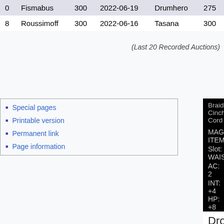|  | Name | Price | Date | Buyer | Price2 |
| --- | --- | --- | --- | --- | --- |
| 0 | Fismabus | 300 | 2022-06-19 | Drumhero | 275 |
| 8 | Roussimoff | 300 | 2022-06-16 | Tasana | 300 |
(Last 20 Recorded Auctions)
Special pages
Printable version
Permanent link
Page information
[Figure (screenshot): Black game item info box showing: Braided Cinch Cord, MAGIC ITEM, Slot: WAIST, AC: 2, INT: +4 HP: +8, WT: 0.2 Size: SMALL, Class: NEC WIZ MAG ENC, Race: HUM ERU HIE DEF GNM IKS]
Drops From
Lower Guk
a ghoul sage
Sold by
This item cannot be purchased from merchants.